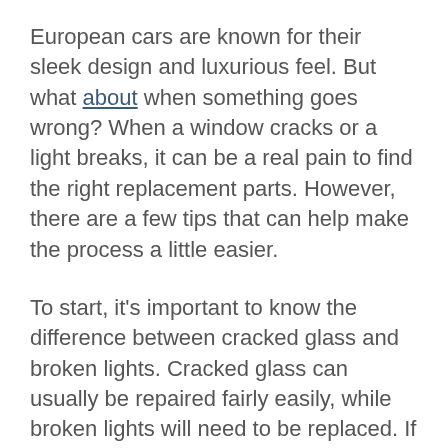European cars are known for their sleek design and luxurious feel. But what about when something goes wrong? When a window cracks or a light breaks, it can be a real pain to find the right replacement parts. However, there are a few tips that can help make the process a little easier.
To start, it's important to know the difference between cracked glass and broken lights. Cracked glass can usually be repaired fairly easily, while broken lights will need to be replaced. If you're not sure which you have, it's always best to consult with a professional.
Next, you'll need to take some measurements. In most cases, you'll need to know the size of the window or light to find the right replacement part. Once you have the